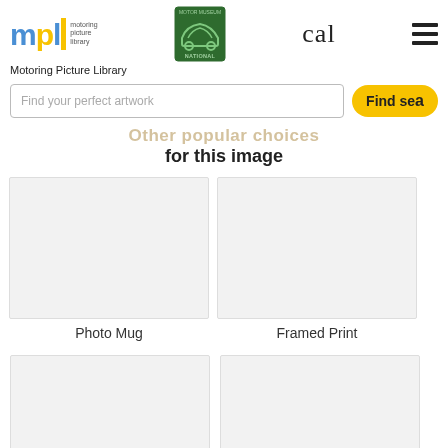[Figure (logo): MPL Motoring Picture Library logo with yellow bar and small text]
[Figure (logo): National Motor Museum green logo with car silhouette]
cal
[Figure (illustration): Hamburger menu icon (three horizontal lines)]
Motoring Picture Library
Find your perfect artwork
Find sea
Other popular choices for this image
Photo Mug
Framed Print